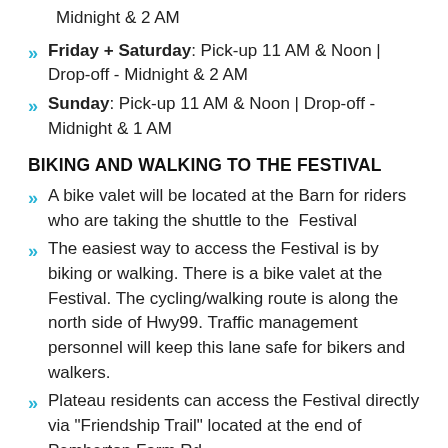Midnight & 2 AM
Friday + Saturday: Pick-up 11 AM & Noon | Drop-off - Midnight & 2 AM
Sunday: Pick-up 11 AM & Noon | Drop-off - Midnight & 1 AM
BIKING AND WALKING TO THE FESTIVAL
A bike valet will be located at the Barn for riders who are taking the shuttle to the Festival
The easiest way to access the Festival is by biking or walking. There is a bike valet at the Festival. The cycling/walking route is along the north side of Hwy99. Traffic management personnel will keep this lane safe for bikers and walkers.
Plateau residents can access the Festival directly via "Friendship Trail" located at the end of Pemberton Farm Rd.
Ride and Walk Safely! When heading home at night, carry a light or wear high visibility/reflective